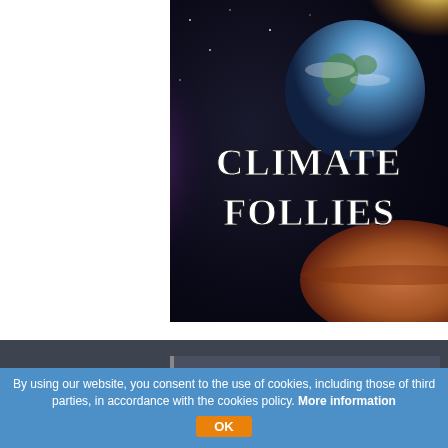[Figure (illustration): Book cover image showing Earth from space with text 'CLIMATE FOLLIES' in bold white letters against a dark cosmic background]
Contact us
Daily Compass
Via Giuseppe Ugolini, 11
20900 Monza - MB
Tel. +39 039 9418930
englishdesk@thedailycompass.com
By using our website, you consent to the use of cookies, including those of third parties, in accordance with the cookies policy. More information
OK